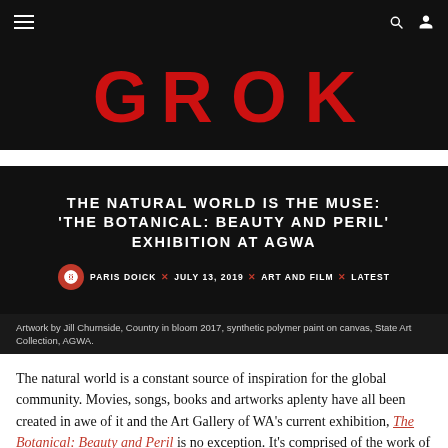GROK
THE NATURAL WORLD IS THE MUSE: 'THE BOTANICAL: BEAUTY AND PERIL' EXHIBITION AT AGWA
PARIS DOICK × JULY 13, 2019 × ART AND FILM × LATEST
Artwork by Jill Churnside, Country in bloom 2017, synthetic polymer paint on canvas, State Art Collection, AGWA.
The natural world is a constant source of inspiration for the global community. Movies, songs, books and artworks aplenty have all been created in awe of it and the Art Gallery of WA's current exhibition, The Botanical: Beauty and Peril is no exception. It's comprised of the work of